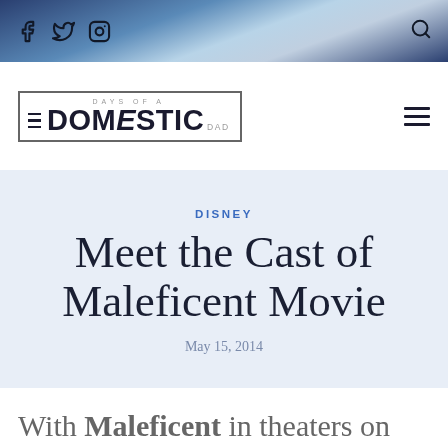Days of a Domestic Dad — site header with social icons and search
[Figure (logo): Days of a Domestic Dad blog logo with border]
DISNEY
Meet the Cast of Maleficent Movie
May 15, 2014
With Maleficent in theaters on